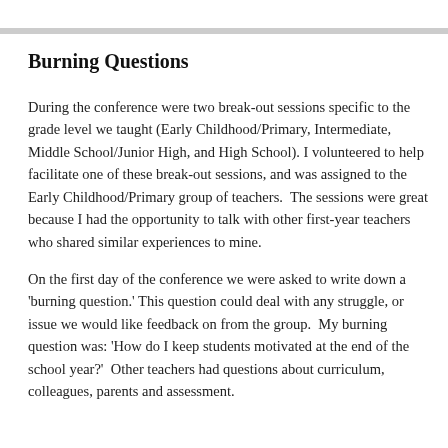Burning Questions
During the conference were two break-out sessions specific to the grade level we taught (Early Childhood/Primary, Intermediate, Middle School/Junior High, and High School). I volunteered to help facilitate one of these break-out sessions, and was assigned to the Early Childhood/Primary group of teachers.  The sessions were great because I had the opportunity to talk with other first-year teachers who shared similar experiences to mine.
On the first day of the conference we were asked to write down a 'burning question.' This question could deal with any struggle, or issue we would like feedback on from the group.  My burning question was: 'How do I keep students motivated at the end of the school year?'  Other teachers had questions about curriculum, colleagues, parents and assessment.